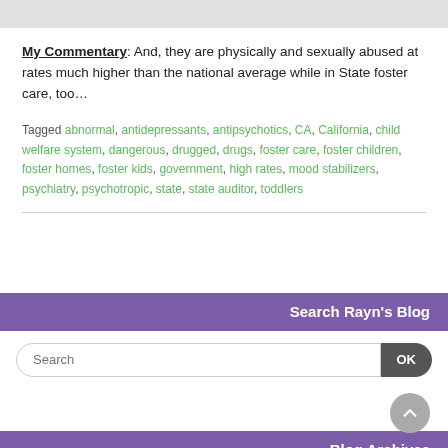[Figure (photo): Gray image area at top of page]
My Commentary: And, they are physically and sexually abused at rates much higher than the national average while in State foster care, too…
Tagged abnormal, antidepressants, antipsychotics, CA, California, child welfare system, dangerous, drugged, drugs, foster care, foster children, foster homes, foster kids, government, high rates, mood stabilizers, psychiatry, psychotropic, state, state auditor, toddlers
Search Rayn's Blog
Blog Archives